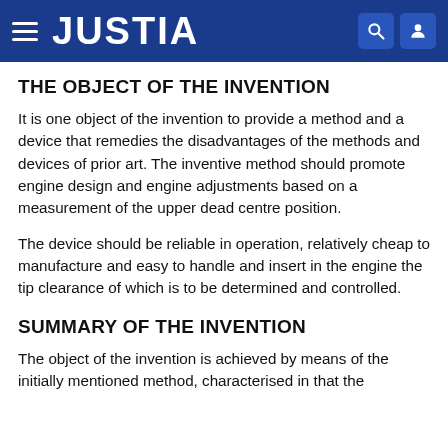JUSTIA
THE OBJECT OF THE INVENTION
It is one object of the invention to provide a method and a device that remedies the disadvantages of the methods and devices of prior art. The inventive method should promote engine design and engine adjustments based on a measurement of the upper dead centre position.
The device should be reliable in operation, relatively cheap to manufacture and easy to handle and insert in the engine the tip clearance of which is to be determined and controlled.
SUMMARY OF THE INVENTION
The object of the invention is achieved by means of the initially mentioned method, characterised in that the